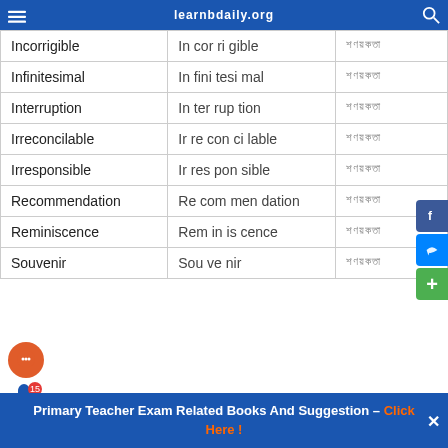learnbdaily.org
| Word | Syllables | Translation |
| --- | --- | --- |
| Incorrigible | In cor ri gible | অদৃশ্যমান |
| Infinitesimal | In fini tesi mal | অদৃশ্যমান |
| Interruption | In ter rup tion | অদৃশ্যমান |
| Irreconcilable | Ir re con ci lable | অদৃশ্যমান |
| Irresponsible | Ir res pon sible | অদৃশ্যমান |
| Recommendation | Re com men dation | অদৃশ্যমান |
| Reminiscence | Rem in is cence | অদৃশ্যমান |
| Souvenir | Sou ve nir | অদৃশ্যমান |
Primary Teacher Exam Related Books And Suggestion – Click Here !